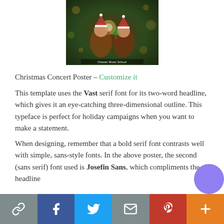[Figure (photo): Christmas Concert Poster showing children in Santa hats with festive bokeh background, Chester Music School branding]
Christmas Concert Poster – Customize it
This template uses the Vast serif font for its two-word headline, which gives it an eye-catching three-dimensional outline. This typeface is perfect for holiday campaigns when you want to make a statement.
When designing, remember that a bold serif font contrasts well with simple, sans-style fonts. In the above poster, the second (sans serif) font used is Josefin Sans, which compliments the headline